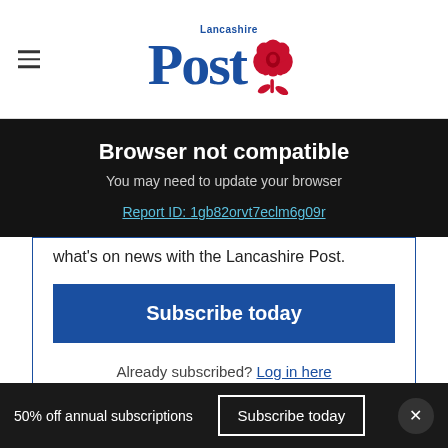Lancashire Post
Browser not compatible
You may need to update your browser
Report ID: 1gb82orvt7eclm6g09r
what's on news with the Lancashire Post.
Subscribe today
Already subscribed? Log in here
Speaking to community members in attendance
50% off annual subscriptions  Subscribe today